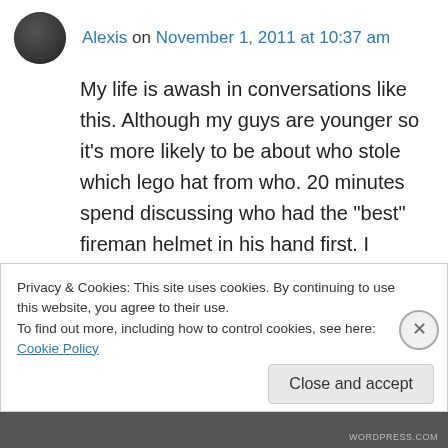Alexis on November 1, 2011 at 10:37 am
My life is awash in conversations like this. Although my guys are younger so it’s more likely to be about who stole which lego hat from who. 20 minutes spend discussing who had the “best” fireman helmet in his hand first. I wonder if these conversations would be shorter if every time one occurred I simply threw the fireman helmet into an actual fire? Sure they would be talking about it in therapy for years, but in the short-run things
Privacy & Cookies: This site uses cookies. By continuing to use this website, you agree to their use.
To find out more, including how to control cookies, see here: Cookie Policy
Close and accept